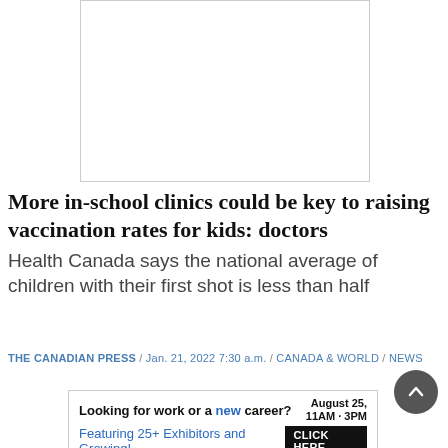[Figure (other): Blank white image placeholder with border]
More in-school clinics could be key to raising vaccination rates for kids: doctors
Health Canada says the national average of children with their first shot is less than half
THE CANADIAN PRESS / Jan. 21, 2022 7:30 a.m. / CANADA & WORLD / NEWS
[Figure (other): Advertisement: Looking for work or a new career? August 25, 11AM-3PM. Featuring 25+ Exhibitors and Growing! CLICK HERE]